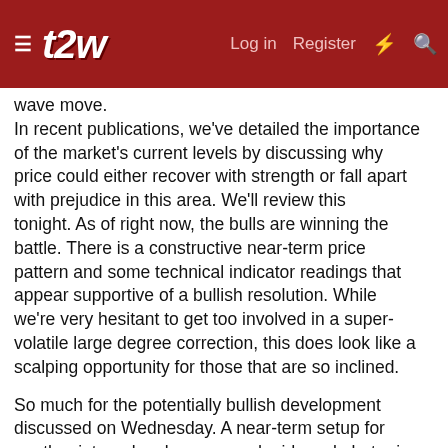t2w | Log in | Register
wave move. In recent publications, we've detailed the importance of the market's current levels by discussing why price could either recover with strength or fall apart with prejudice in this area. We'll review this tonight. As of right now, the bulls are winning the battle. There is a constructive near-term price pattern and some technical indicator readings that appear supportive of a bullish resolution. While we're very hesitant to get too involved in a super-volatile large degree correction, this does look like a scalping opportunity for those that are so inclined.
So much for the potentially bullish development discussed on Wednesday. A near-term setup for another internal up leg emerged mid-week, but price was only able to give us a bit more strength before falling apart for the rest of the week. This was punctuated by a big down day on Friday, leaving